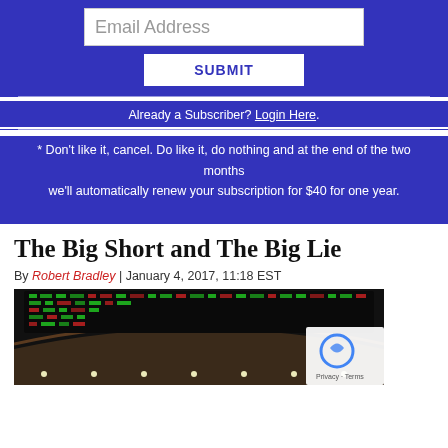[Figure (screenshot): Email subscription form with blue background, email address input field, and a SUBMIT button]
Already a Subscriber? Login Here.
* Don't like it, cancel. Do like it, do nothing and at the end of the two months we'll automatically renew your subscription for $40 for one year.
The Big Short and The Big Lie
By Robert Bradley | January 4, 2017, 11:18 EST
[Figure (photo): Interior photo of a stock exchange trading floor showing electronic ticker boards with green and red numbers on the ceiling/walls]